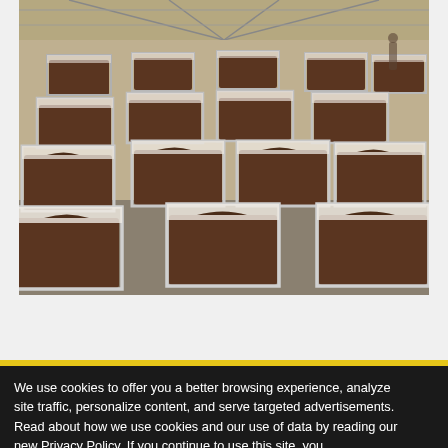[Figure (photo): Indoor agricultural facility showing rows of metal wire cages/bins filled with dark brown growing medium (likely compost or soil), arranged in a large warehouse-style building with a metal roof structure visible overhead.]
We use cookies to offer you a better browsing experience, analyze site traffic, personalize content, and serve targeted advertisements. Read about how we use cookies and our use of data by reading our new Privacy Policy. If you continue to use this site, you